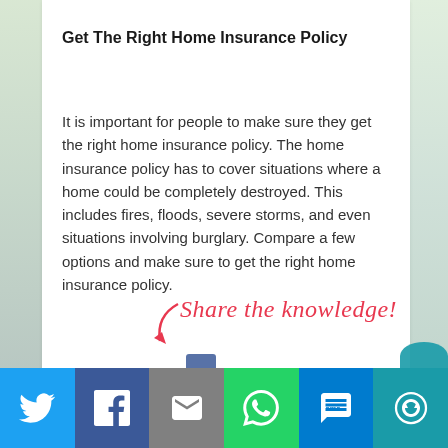Get The Right Home Insurance Policy
It is important for people to make sure they get the right home insurance policy. The home insurance policy has to cover situations where a home could be completely destroyed. This includes fires, floods, severe storms, and even situations involving burglary. Compare a few options and make sure to get the right home insurance policy.
Share the knowledge!
[Figure (infographic): Social sharing bar at the bottom with icons for Twitter, Facebook, Email, WhatsApp, SMS, and More options on colored backgrounds.]